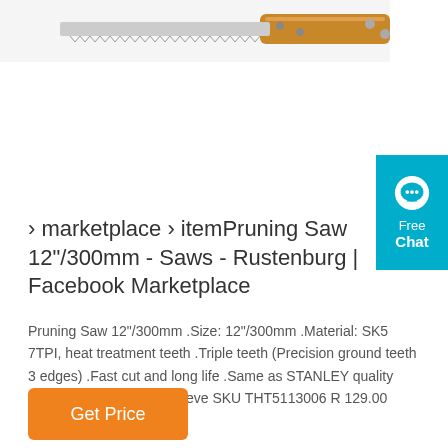[Figure (photo): Partial view of a pruning saw with wooden handle and metal blade, cropped at top of page]
[Figure (other): Cyan/teal chat button widget on right side with speech bubble icon and text 'Free Chat']
› marketplace › itemPruning Saw 12"/300mm - Saws - Rustenburg | Facebook Marketplace
Pruning Saw 12"/300mm .Size: 12"/300mm .Material: SK5 7TPI, heat treatment teeth .Triple teeth (Precision ground teeth 3 edges) .Fast cut and long life .Same as STANLEY quality level .Packed by color sleeve SKU THT5113006 R 129.00
Get Price